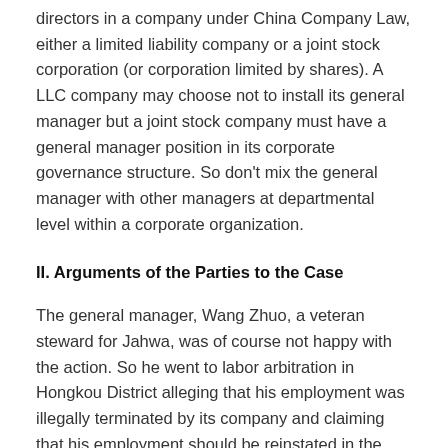directors in a company under China Company Law, either a limited liability company or a joint stock corporation (or corporation limited by shares). A LLC company may choose not to install its general manager but a joint stock company must have a general manager position in its corporate governance structure. So don't mix the general manager with other managers at departmental level within a corporate organization.
II. Arguments of the Parties to the Case
The general manager, Wang Zhuo, a veteran steward for Jahwa, was of course not happy with the action. So he went to labor arbitration in Hongkou District alleging that his employment was illegally terminated by its company and claiming that his employment should be reinstated in the Company. According to Mr. Wang and his legal representative, the termination of labor relationship was illegal because the